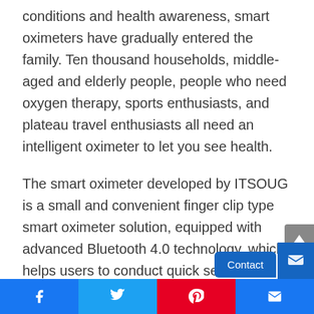conditions and health awareness, smart oximeters have gradually entered the family. Ten thousand households, middle-aged and elderly people, people who need oxygen therapy, sports enthusiasts, and plateau travel enthusiasts all need an intelligent oximeter to let you see health.
The smart oximeter developed by ITSOUG is a small and convenient finger clip type smart oximeter solution, equipped with advanced Bluetooth 4.0 technology, which helps users to conduct quick self-health detection and output blood oxygen and pulse information. The blood oxygen saturation measurement range is 35%~100%, and the pulse rate measurement range 0